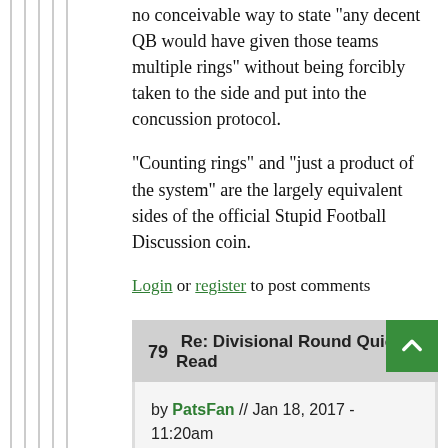no conceivable way to state "any decent QB would have given those teams multiple rings" without being forcibly taken to the side and put into the concussion protocol.
"Counting rings" and "just a product of the system" are the largely equivalent sides of the official Stupid Football Discussion coin.
Log in or register to post comments
79  Re: Divisional Round Quick Read
by PatsFan // Jan 18, 2017 - 11:20am